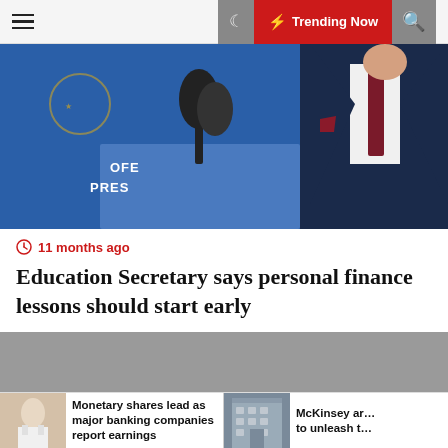Trending Now
[Figure (photo): Man in dark suit with microphone at podium, blue backdrop with partial text 'OFFICE OF PRESIDENT-ELECT']
11 months ago
Education Secretary says personal finance lessons should start early
[Figure (photo): Gray placeholder image for second article]
Monetary shares lead as major banking companies report earnings
McKinsey ar... to unleash t...